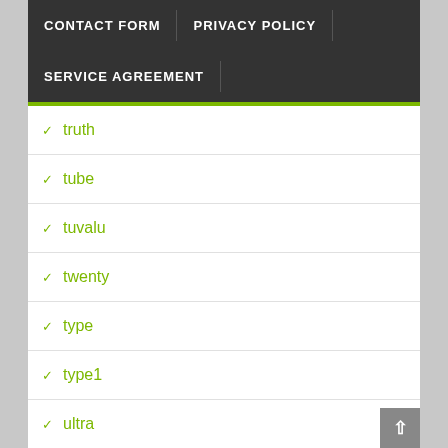CONTACT FORM | PRIVACY POLICY | SERVICE AGREEMENT
truth
tube
tuvalu
twenty
type
type1
ultra
unboxing
uncirc
uncirculated
unique